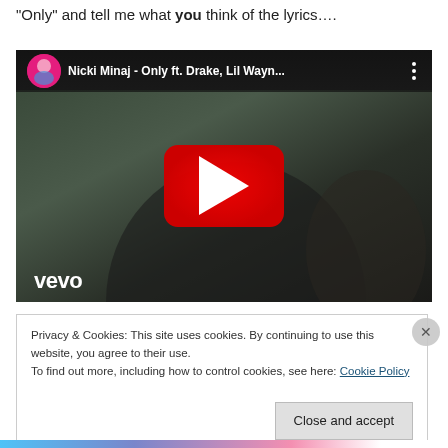“Only” and tell me what you think of the lyrics….
[Figure (screenshot): YouTube embedded video thumbnail for Nicki Minaj - Only ft. Drake, Lil Wayn... with vevo branding and red play button]
Privacy & Cookies: This site uses cookies. By continuing to use this website, you agree to their use.
To find out more, including how to control cookies, see here: Cookie Policy
Close and accept